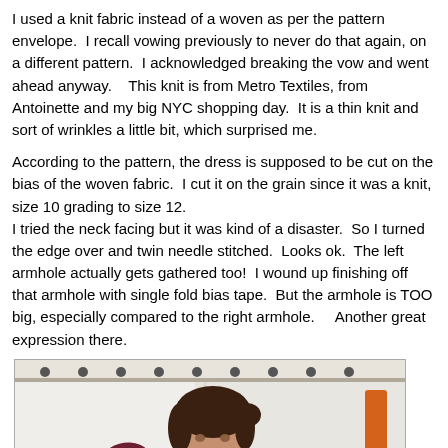I used a knit fabric instead of a woven as per the pattern envelope.  I recall vowing previously to never do that again, on a different pattern.  I acknowledged breaking the vow and went ahead anyway.   This knit is from Metro Textiles, from Antoinette and my big NYC shopping day.  It is a thin knit and sort of wrinkles a little bit, which surprised me.
According to the pattern, the dress is supposed to be cut on the bias of the woven fabric.  I cut it on the grain since it was a knit, size 10 grading to size 12.
I tried the neck facing but it was kind of a disaster.  So I turned the edge over and twin needle stitched.  Looks ok.  The left armhole actually gets gathered too!  I wound up finishing off that armhole with single fold bias tape.  But the armhole is TOO big, especially compared to the right armhole.    Another great expression there.
[Figure (photo): A woman taking a selfie in a bathroom mirror, wearing a dark burgundy/maroon sleeveless dress with a ruffled left shoulder detail. She is holding a small red camera. The background shows a white shower curtain with dark dots and a beige/tan wall.]